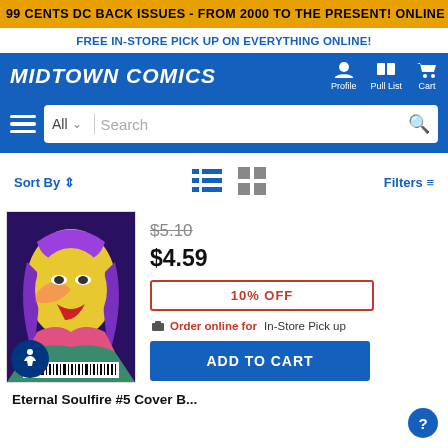99 CENTS DC BACK ISSUES - FROM 2000 TO THE PRESENT! ONLINE ONLY, TODAY ONLY!
FREE IN-STORE PICK UP ON EVERYTHING ONLINE!
MIDTOWN COMICS
Profile  Pull List  Cart
All  Search
Sort By  Filters
[Figure (illustration): Comic book cover art showing a colorful stylized female figure with yellow face, purple hair, and vibrant colors]
$5.10
$4.59
10% OFF
Order online for In-Store Pick up
ADD TO CART
Eternal Soulfire #5 Cover B...